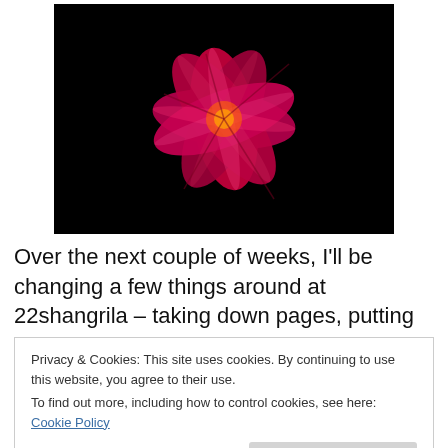[Figure (photo): Close-up photograph of a red/pink plumeria (frangipani) flower with five petals arranged in a star pattern against a black background.]
Over the next couple of weeks, I'll be changing a few things around at 22shangrila – taking down pages, putting
Privacy & Cookies: This site uses cookies. By continuing to use this website, you agree to their use.
To find out more, including how to control cookies, see here: Cookie Policy
Close and accept
few added 'bits'. This way you'll be able to check it out at